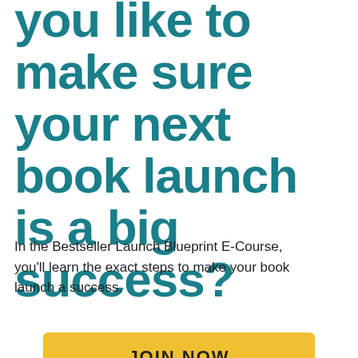you like to make sure your next book launch is a big success?
In the Bestseller Launch Blueprint E-Course, you'll learn the exact steps to make your book launch a success.
JOIN NOW